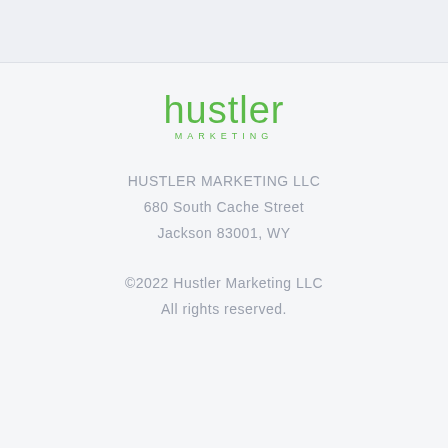[Figure (logo): Hustler Marketing logo with green text 'hustler' in lowercase and 'MARKETING' in small caps beneath]
HUSTLER MARKETING LLC
680 South Cache Street
Jackson 83001, WY
©2022 Hustler Marketing LLC
All rights reserved.